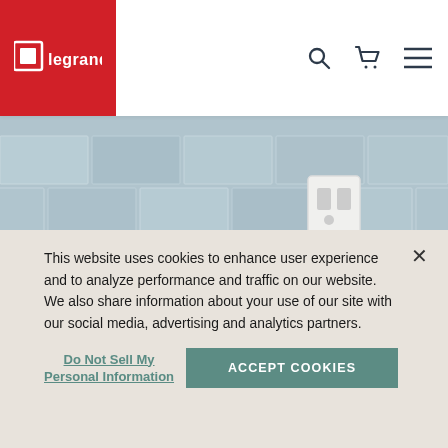[Figure (logo): Legrand logo — white square icon and 'legrand' wordmark on red background]
[Figure (photo): Kitchen scene with blue-grey subway tile backsplash, white countertop, gas stove burner on the left, and a white electrical outlet on the wall]
This website uses cookies to enhance user experience and to analyze performance and traffic on our website. We also share information about your use of our site with our social media, advertising and analytics partners.
Do Not Sell My Personal Information
ACCEPT COOKIES